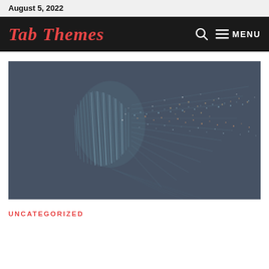August 5, 2022
Tab Themes
[Figure (illustration): Digital art illustration of a human head profile dissolving into particles and fiber optic strands against a dark blue-gray background, representing AI or digital mind concept]
UNCATEGORIZED